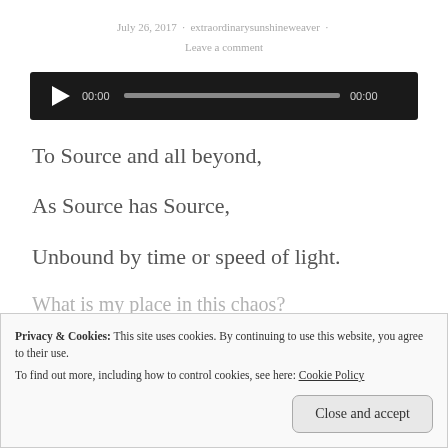July 26, 2017 · extraordinarysunshineweaver · Leave a comment
[Figure (other): Audio player widget with play button, time counter showing 00:00, progress bar, and duration 00:00 on a dark background]
To Source and all beyond,
As Source has Source,
Unbound by time or speed of light.
What is my place in this chaos?
Privacy & Cookies: This site uses cookies. By continuing to use this website, you agree to their use. To find out more, including how to control cookies, see here: Cookie Policy